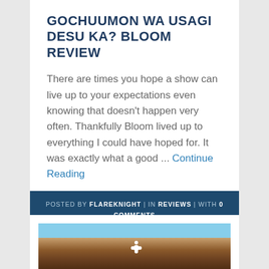GOCHUUMON WA USAGI DESU KA? BLOOM REVIEW
There are times you hope a show can live up to your expectations even knowing that doesn't happen very often. Thankfully Bloom lived up to everything I could have hoped for. It was exactly what a good ... Continue Reading
POSTED BY FLAREKNIGHT | IN REVIEWS | WITH 0 COMMENTS
[Figure (photo): Anime character with brown hair and a flower pendant necklace, blue sky background]